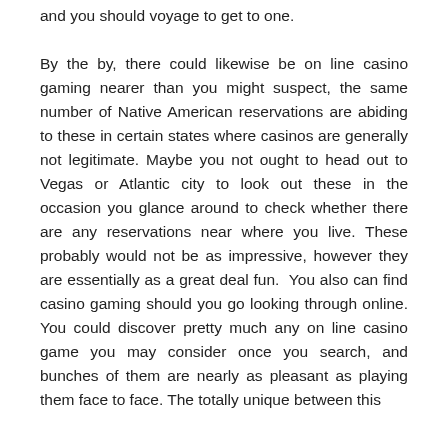and you should voyage to get to one. By the by, there could likewise be on line casino gaming nearer than you might suspect, the same number of Native American reservations are abiding to these in certain states where casinos are generally not legitimate. Maybe you not ought to head out to Vegas or Atlantic city to look out these in the occasion you glance around to check whether there are any reservations near where you live. These probably would not be as impressive, however they are essentially as a great deal fun. You also can find casino gaming should you go looking through online. You could discover pretty much any on line casino game you may consider once you search, and bunches of them are nearly as pleasant as playing them face to face. The totally unique between this